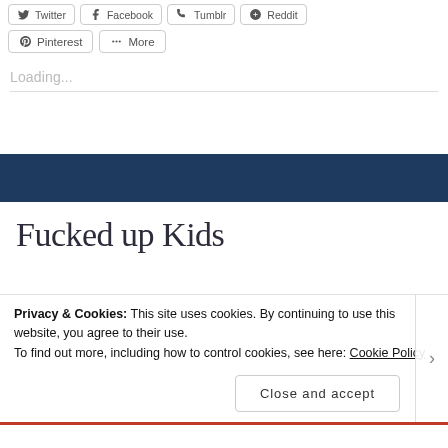[Figure (screenshot): Social share buttons row: Twitter, Facebook, Tumblr, Reddit (partially visible)]
[Figure (screenshot): Second row of share buttons: Pinterest and More]
Loading...
Fucked up Kids
Privacy & Cookies: This site uses cookies. By continuing to use this website, you agree to their use.
To find out more, including how to control cookies, see here: Cookie Policy
[Figure (screenshot): Close and accept button for cookie banner]